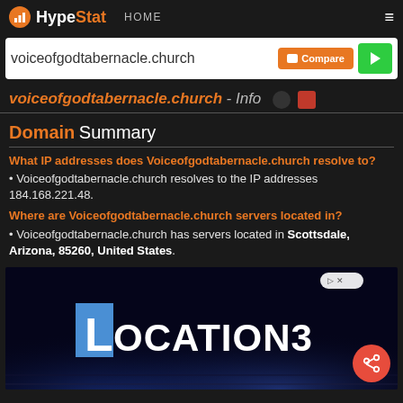HypeStat HOME
voiceofgodtabernacle.church
voiceofgodtabernacle.church - Info
Domain Summary
What IP addresses does Voiceofgodtabernacle.church resolve to?
• Voiceofgodtabernacle.church resolves to the IP addresses 184.168.221.48.
Where are Voiceofgodtabernacle.church servers located in?
• Voiceofgodtabernacle.church has servers located in Scottsdale, Arizona, 85260, United States.
[Figure (other): Advertisement banner for LOCATION3 with dark blue background and stage lighting visual]